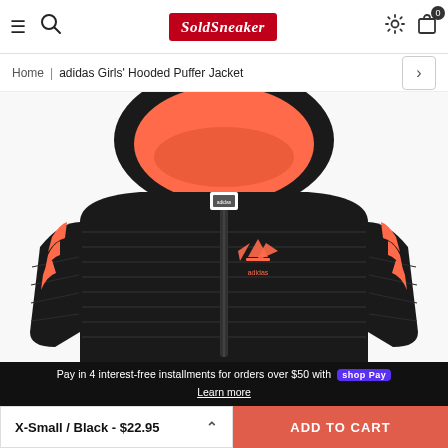SoldSneaker — navigation header with hamburger, search, logo, settings, cart (0)
Home | adidas Girls' Hooded Puffer Jacket
[Figure (photo): adidas Girls' Hooded Puffer Jacket in black with coral/orange accents and three stripes on sleeves, shown flat lay, hood open showing coral lining, adidas logo on chest]
Pay in 4 interest-free installments for orders over $50 with shop Pay
Learn more
X-Small / Black - $22.95
ADD TO CART